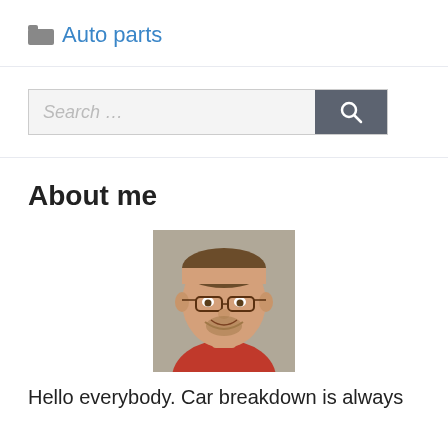Auto parts
[Figure (other): Search bar with text input field and search button with magnifying glass icon]
About me
[Figure (photo): Portrait photo of a middle-aged man with glasses and a beard, wearing a red shirt, smiling at the camera]
Hello everybody. Car breakdown is always